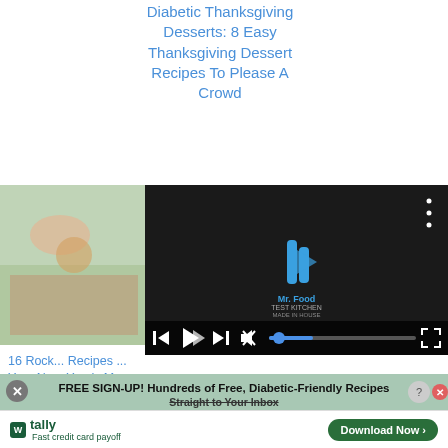Diabetic Thanksgiving Desserts: 8 Easy Thanksgiving Dessert Recipes To Please A Crowd
[Figure (screenshot): Left side shows a food thumbnail image; right side shows a video player overlay with Mr. Food Test Kitchen logo, playback controls (skip back, play, skip forward), mute button, progress bar, and fullscreen button on a dark background.]
16 Rock... Recipes ... Your Ne... Year's Mo...
FREE SIGN-UP! Hundreds of Free, Diabetic-Friendly Recipes Straight to Your Inbox
[Figure (other): Tally app advertisement banner: Tally logo with 'Fast credit card payoff' text and a green 'Download Now' button.]